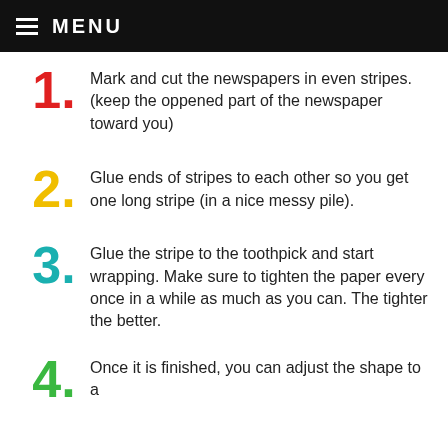MENU
Mark and cut the newspapers in even stripes. (keep the oppened part of the newspaper toward you)
Glue ends of stripes to each other so you get one long stripe (in a nice messy pile).
Glue the stripe to the toothpick and start wrapping. Make sure to tighten the paper every once in a while as much as you can. The tighter the better.
Once it is finished, you can adjust the shape to a